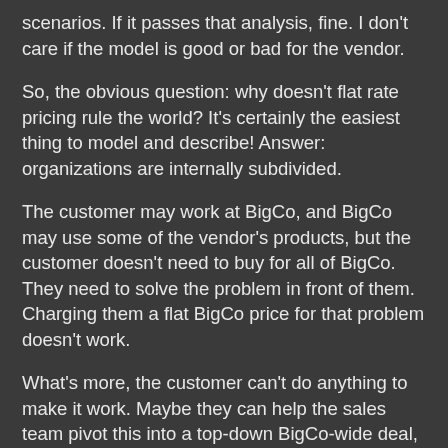scenarios. If it passes that analysis, fine. I don't care if the model is good or bad for the vendor.
So, the obvious question: why doesn't flat rate pricing rule the world? It's certainly the easiest thing to model and describe! Answer: organizations are internally subdivided.
The customer may work at BigCo, and BigCo may use some of the vendor's products, but the customer doesn't need to buy for all of BigCo. They need to solve the problem in front of them. Charging them a flat BigCo price for that problem doesn't work.
What's more, the customer can't do anything to make it work. Maybe they can help the sales team pivot this into a top-down BigCo-wide deal, but that's going to take a long time and require all sorts of political capital and organizational skill that not every customer has.
This is easy to solve, right? Per-unit pricing is the answer! Only, we're talking enterprise sales and products that require hand-holding. The vendor has a spreadsheet model too, and